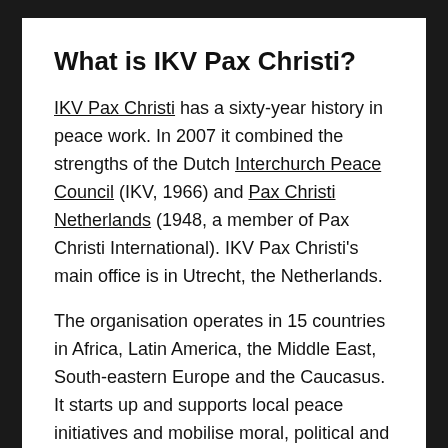What is IKV Pax Christi?
IKV Pax Christi has a sixty-year history in peace work. In 2007 it combined the strengths of the Dutch Interchurch Peace Council (IKV, 1966) and Pax Christi Netherlands (1948, a member of Pax Christi International). IKV Pax Christi's main office is in Utrecht, the Netherlands.
The organisation operates in 15 countries in Africa, Latin America, the Middle East, South-eastern Europe and the Caucasus. It starts up and supports local peace initiatives and mobilise moral, political and financial support for these in our own society.
In conflict areas, IKV Pax Christi works with local partners on political solutions to end conflicts and improve human security. Political analysis, networking